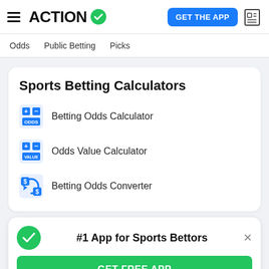ACTION [logo with checkmark] | GET THE APP
Odds   Public Betting   Picks
Sports Betting Calculators
Betting Odds Calculator
Odds Value Calculator
Betting Odds Converter
#1 App for Sports Bettors
GET FREE APP